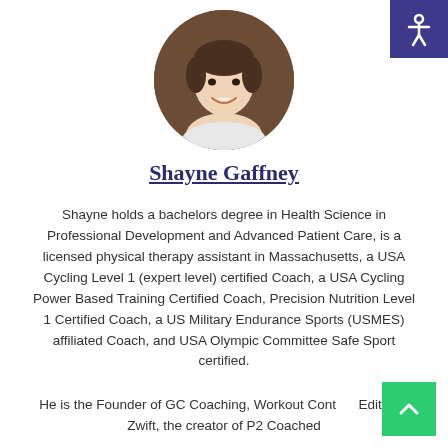[Figure (photo): Circular profile photo of Shayne Gaffney, a man smiling, wearing a white shirt, with a brown/outdoor background.]
Shayne Gaffney
Shayne holds a bachelors degree in Health Science in Professional Development and Advanced Patient Care, is a licensed physical therapy assistant in Massachusetts, a USA Cycling Level 1 (expert level) certified Coach, a USA Cycling Power Based Training Certified Coach, Precision Nutrition Level 1 Certified Coach, a US Military Endurance Sports (USMES) affiliated Coach, and USA Olympic Committee Safe Sport certified.
He is the Founder of GC Coaching, Workout Content Editor at Zwift, the creator of P2 Coached